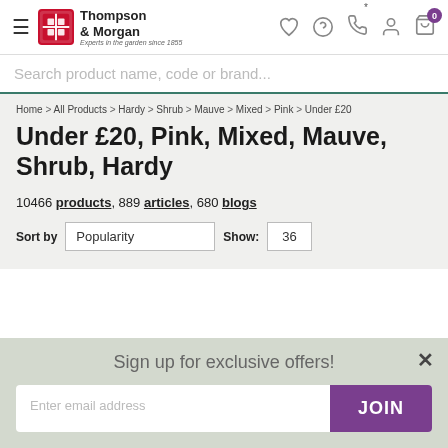Thompson & Morgan — Experts in the garden since 1855
Search product name, code or brand...
Home > All Products > Hardy > Shrub > Mauve > Mixed > Pink > Under £20
Under £20, Pink, Mixed, Mauve, Shrub, Hardy
10466 products, 889 articles, 680 blogs
Sort by: Popularity  Show: 36
Sign up for exclusive offers!
Enter email address  JOIN